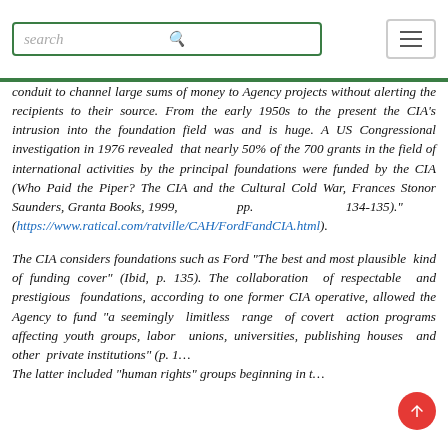search [search icon] [menu icon]
conduit to channel large sums of money to Agency projects without alerting the recipients to their source. From the early 1950s to the present the CIA's intrusion into the foundation field was and is huge. A US Congressional investigation in 1976 revealed that nearly 50% of the 700 grants in the field of international activities by the principal foundations were funded by the CIA (Who Paid the Piper? The CIA and the Cultural Cold War, Frances Stonor Saunders, Granta Books, 1999, pp. 134-135)." (https://www.ratical.com/ratville/CAH/FordFandCIA.html).
The CIA considers foundations such as Ford "The best and most plausible kind of funding cover" (Ibid, p. 135). The collaboration of respectable and prestigious foundations, according to one former CIA operative, allowed the Agency to fund "a seemingly limitless range of covert action programs affecting youth groups, labor unions, universities, publishing houses and other private institutions" (p. 1… The latter included "human rights" groups beginning in t…